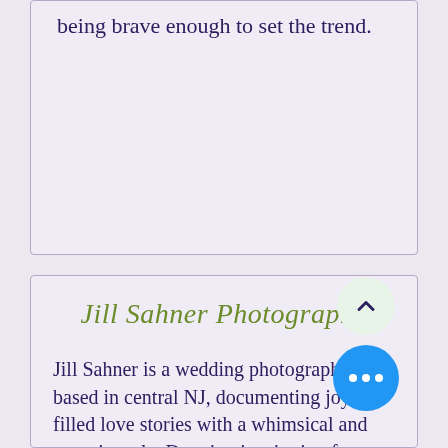being brave enough to set the trend.
Jill Sahner Photography
Jill Sahner is a wedding photographer based in central NJ, documenting joy-filled love stories with a whimsical and organic style. Drawing inspiration from both art and nature, Jill creates timeless imagery that authentically captures the emotion and romance of the day. From intimate gatherings to large scale celebrations, she takes a unique and thoughtful approach to each wedding, setting to help...